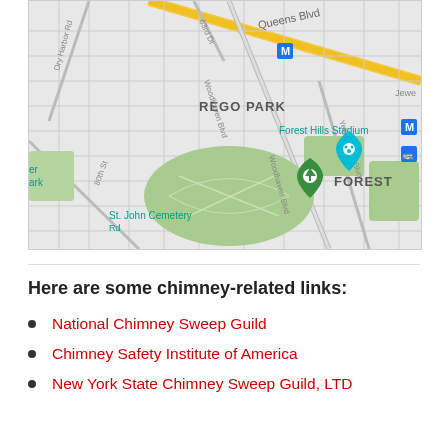[Figure (map): Google Maps view showing Rego Park and Forest Hills area in Queens, NY. Labels include Queens Blvd, Rego Park, Forest Hills Stadium, St. John Cemetery, Woodhaven Blvd, Yellowstone Blvd, Dry Harbor Rd, 63rd Dr, 80th St, and metro station markers (M). A teal location pin is near Forest Hills Stadium and a green pin is at St. John Cemetery.]
Here are some chimney-related links:
National Chimney Sweep Guild
Chimney Safety Institute of America
New York State Chimney Sweep Guild, LTD